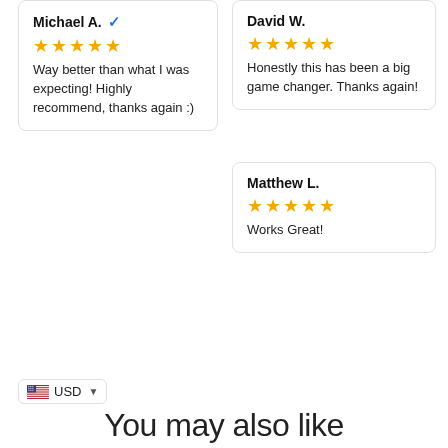Michael A. ✓ — ★★★★★ — Way better than what I was expecting! Highly recommend, thanks again :)
David W. — ★★★★★ — Honestly this has been a big game changer. Thanks again!
Matthew L. — ★★★★★ — Works Great!
USD
You may also like